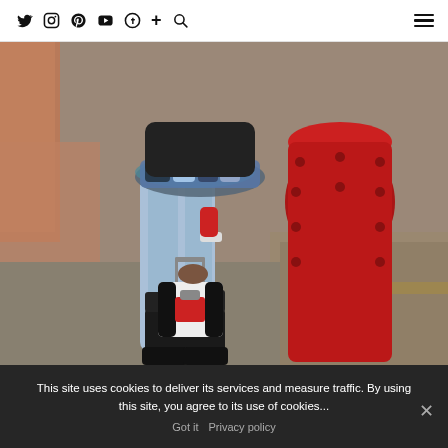Twitter Instagram Pinterest YouTube Facebook + Search [hamburger menu]
[Figure (photo): A fashion photo showing the lower body of a person wearing blue jeans, a fur-trimmed top, and black ankle boots, holding a black, white and red structured handbag, standing next to a large red metal bollard on a street with brick buildings in the background.]
This site uses cookies to deliver its services and measure traffic. By using this site, you agree to its use of cookies...
Got it  Privacy policy